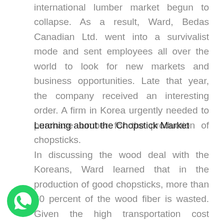international lumber market begun to collapse. As a result, Ward, Bedas Canadian Ltd. went into a survivalist mode and sent employees all over the world to look for new markets and business opportunities. Late that year, the company received an interesting order. A firm in Korea urgently needed to purchase lumber for the production of chopsticks.
Learning about the Chopstick Market
In discussing the wood deal with the Koreans, Ward learned that in the production of good chopsticks, more than 60 percent of the wood fiber is wasted. Given the high transportation cost involved, the large degree of wasted materials, and his need for new business, Ward decided to explore the Korean and Japanese chopstick industry in more detail.
[Figure (logo): WhatsApp green phone icon in bottom-left corner]